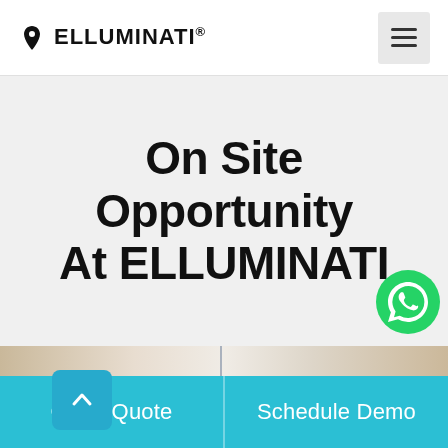ELLUMINATI® [logo with location pin icon] [hamburger menu]
On Site Opportunity At ELLUMINATI
[Figure (logo): Green WhatsApp circular icon button in bottom-right of hero section]
[Figure (photo): Partial screenshot showing office/people photo strip below hero section with teal up-arrow button overlay]
Get a Quote | Schedule Demo